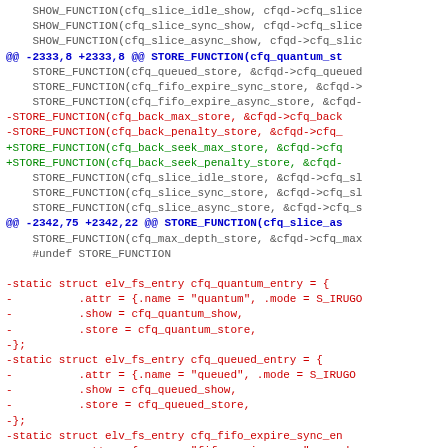Diff/patch code showing changes to CFQ scheduler functions including SHOW_FUNCTION, STORE_FUNCTION, and static struct definitions for cfq scheduler entries.